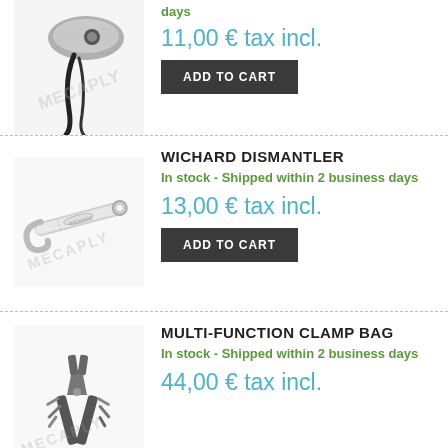[Figure (photo): Partial image of a tool/device with a black cable, top of page (cropped)]
days
11,00 € tax incl.
ADD TO CART
WICHARD DISMANTLER
In stock - Shipped within 2 business days
13,00 € tax incl.
ADD TO CART
[Figure (photo): Photo of a Wichard Dismantler tool, a silver metal hook/wrench shaped device]
MULTI-FUNCTION CLAMP BAG
In stock - Shipped within 2 business days
44,00 € tax incl.
[Figure (photo): Photo of a multi-function clamp bag tool, a folding multi-tool with pliers]